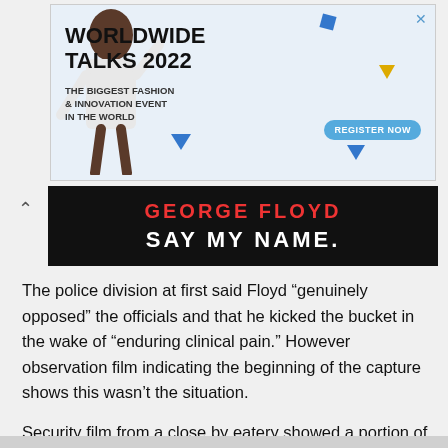[Figure (infographic): Advertisement banner for Worldwide Talks 2022 - The Biggest Fashion & Innovation Event In The World, featuring a model and Register Now button]
[Figure (infographic): Black banner with red text 'GEORGE FLOYD' and white text 'SAY MY NAME.']
The police division at first said Floyd “genuinely opposed” the officials and that he kicked the bucket in the wake of “enduring clinical pain.” However observation film indicating the beginning of the capture shows this wasn’t the situation.
Security film from a close by eatery showed a portion of the occasions paving the way to Floyd’s capture. The video catches two officials showing up at the scene around 8 p.m., removing Floyd from a vehicle left in the city, cuffing and addressing him before in the end strolling